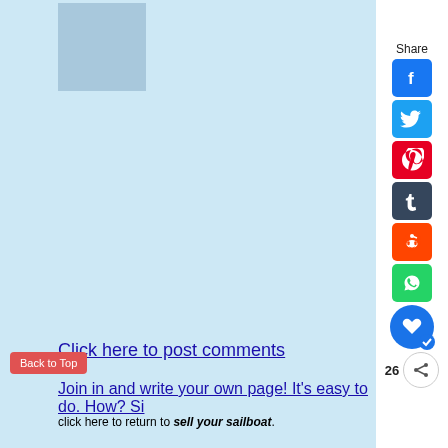[Figure (screenshot): Light blue background area showing a webpage screenshot with a thumbnail image in the top left and a large ad/content area]
[Figure (other): Social sharing sidebar with Share label and icons: Facebook (blue), Twitter (blue), Pinterest (red), Tumblr (dark), Reddit (orange), WhatsApp (green), Love/bookmark button (blue circle), count 26, and share icon]
Click here to post comments
Back to Top
Join in and write your own page! It's easy to do. How? Si
click here to return to sell your sailboat.